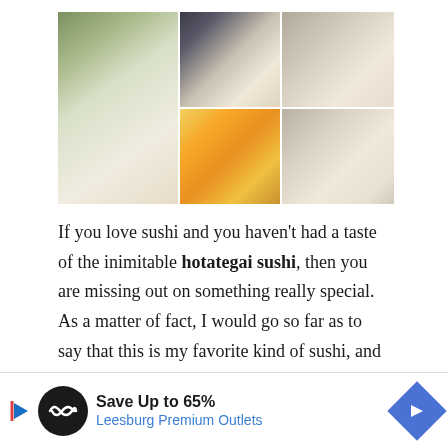[Figure (photo): Collage of five photos showing hotategai (scallop) sushi in various presentations on dark plates and surfaces]
If you love sushi and you haven't had a taste of the inimitable hotategai sushi, then you are missing out on something really special. As a matter of fact, I would go so far as to say that this is my favorite kind of sushi, and probably my family's favorite sushi as well. It is, at least, the most requested among the different kinds of sushi my kids love.
Not only does it taste amazing but the farmed ones are also s[truncated by ad banner]ou